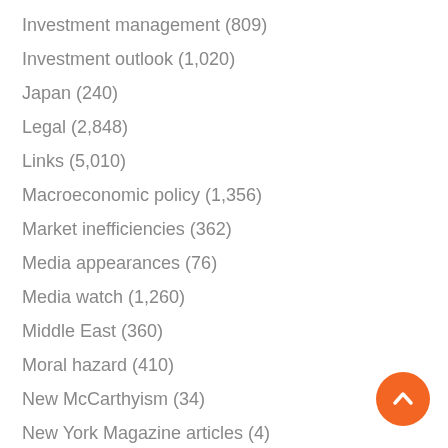Investment management (809)
Investment outlook (1,020)
Japan (240)
Legal (2,848)
Links (5,010)
Macroeconomic policy (1,356)
Market inefficiencies (362)
Media appearances (76)
Media watch (1,260)
Middle East (360)
Moral hazard (410)
New McCarthyism (34)
New York Magazine articles (4)
New Zealand (82)
Notices (592)
OCC (16)
Pandemic (911)